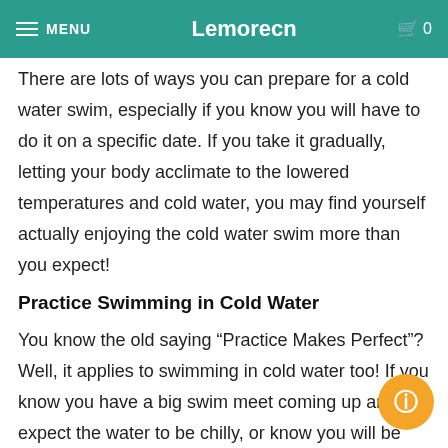MENU | Lemorecn | 0
There are lots of ways you can prepare for a cold water swim, especially if you know you will have to do it on a specific date. If you take it gradually, letting your body acclimate to the lowered temperatures and cold water, you may find yourself actually enjoying the cold water swim more than you expect!
Practice Swimming in Cold Water
You know the old saying “Practice Makes Perfect”? Well, it applies to swimming in cold water too! If you know you have a big swim meet coming up and expect the water to be chilly, or know you will be doing a cold water swim in the future, practicing in cold water a few weeks before the swim will go a long way toward making the actual swim easier and go